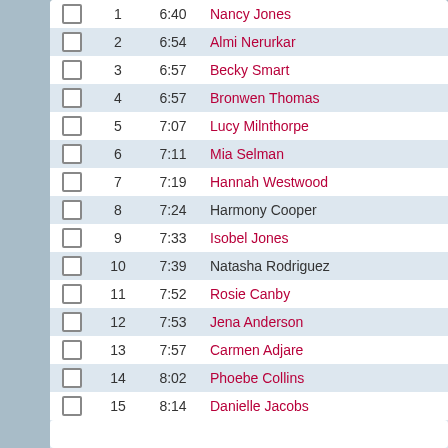|  | # | Time | Name |
| --- | --- | --- | --- |
| ☐ | 1 | 6:40 | Nancy Jones |
| ☐ | 2 | 6:54 | Almi Nerurkar |
| ☐ | 3 | 6:57 | Becky Smart |
| ☐ | 4 | 6:57 | Bronwen Thomas |
| ☐ | 5 | 7:07 | Lucy Milnthorpe |
| ☐ | 6 | 7:11 | Mia Selman |
| ☐ | 7 | 7:19 | Hannah Westwood |
| ☐ | 8 | 7:24 | Harmony Cooper |
| ☐ | 9 | 7:33 | Isobel Jones |
| ☐ | 10 | 7:39 | Natasha Rodriguez |
| ☐ | 11 | 7:52 | Rosie Canby |
| ☐ | 12 | 7:53 | Jena Anderson |
| ☐ | 13 | 7:57 | Carmen Adjare |
| ☐ | 14 | 8:02 | Phoebe Collins |
| ☐ | 15 | 8:14 | Danielle Jacobs |
| ☐ | 16 | 8:30 | Lucy Gerwat |
| ☐ | 17 | 9:06 | Matilda Russell |